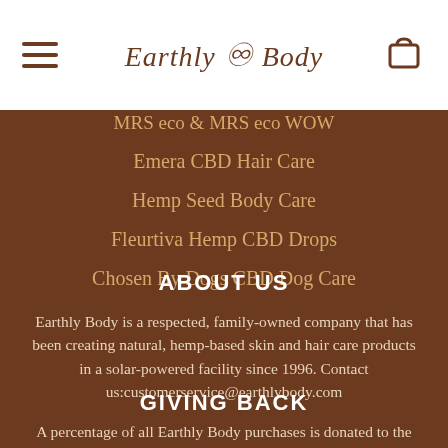Earthly Body
MRS eco & MRS eco WOW
Emera CBD Hair Care
Hemp Seed Body Care
Fleurtiva Hemp CBD Drops
Chosen By Dogs CBD Dog Care
ABOUT US
Earthly Body is a respected, family-owned company that has been creating natural, hemp-based skin and hair care products in a solar-powered facility since 1996. Contact us:customerservice@earthlybody.com
GIVING BACK
A percentage of all Earthly Body purchases is donated to the Get Together Foundation, a non-profit